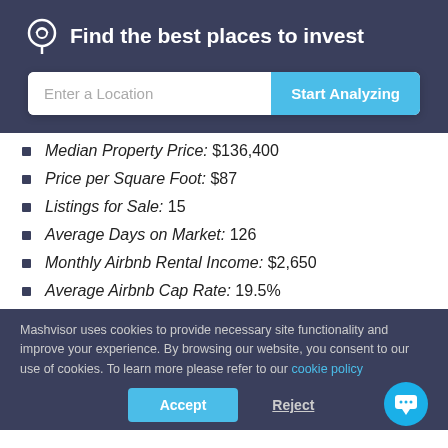Find the best places to invest
[Figure (other): Search bar with 'Enter a Location' input and 'Start Analyzing' button]
Median Property Price: $136,400
Price per Square Foot: $87
Listings for Sale: 15
Average Days on Market: 126
Monthly Airbnb Rental Income: $2,650
Average Airbnb Cap Rate: 19.5%
Mashvisor uses cookies to provide necessary site functionality and improve your experience. By browsing our website, you consent to our use of cookies. To learn more please refer to our cookie policy
Accept  Reject